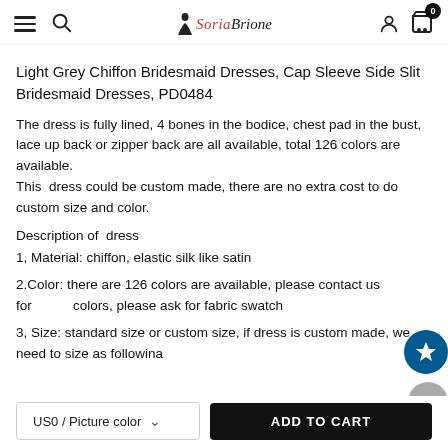SoriaBrione logo with hamburger menu, search, user, and cart icons
Light Grey Chiffon Bridesmaid Dresses, Cap Sleeve Side Slit Bridesmaid Dresses, PD0484
The dress is fully lined, 4 bones in the bodice, chest pad in the bust, lace up back or zipper back are all available, total 126 colors are available.
This dress could be custom made, there are no extra cost to do custom size and color.
Description of dress
1, Material: chiffon, elastic silk like satin
2.Color: there are 126 colors are available, please contact us for colors, please ask for fabric swatch
3, Size: standard size or custom size, if dress is custom made, we need to size as followina